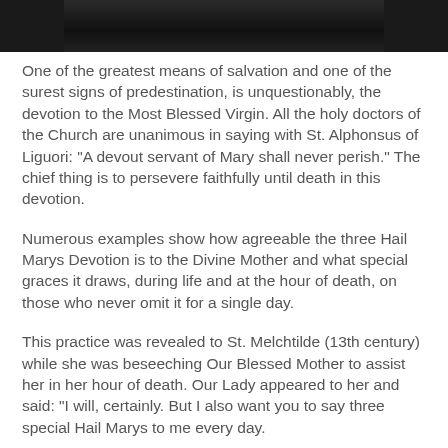[Figure (photo): Dark photograph at top of page, partially visible, showing silhouetted figures against a dark background.]
One of the greatest means of salvation and one of the surest signs of predestination, is unquestionably, the devotion to the Most Blessed Virgin. All the holy doctors of the Church are unanimous in saying with St. Alphonsus of Liguori: "A devout servant of Mary shall never perish." The chief thing is to persevere faithfully until death in this devotion.
Numerous examples show how agreeable the three Hail Marys Devotion is to the Divine Mother and what special graces it draws, during life and at the hour of death, on those who never omit it for a single day.
This practice was revealed to St. Melchtilde (13th century) while she was beseeching Our Blessed Mother to assist her in her hour of death. Our Lady appeared to her and said: "I will, certainly. But I also want you to say three special Hail Marys to me every day.
"The first Hail Mary will be in honor of God the Father, Whose omnipotence raised my soul so high above every